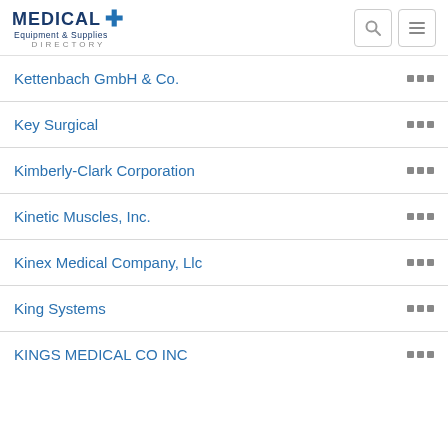MEDICAL + Equipment & Supplies DIRECTORY
Kettenbach GmbH & Co.
Key Surgical
Kimberly-Clark Corporation
Kinetic Muscles, Inc.
Kinex Medical Company, Llc
King Systems
KINGS MEDICAL CO INC